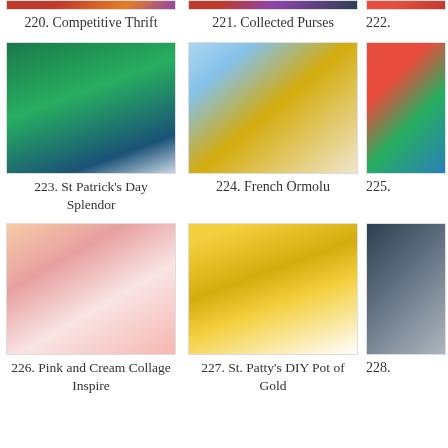[Figure (photo): Partial top of item 220 image]
220. Competitive Thrift
[Figure (photo): Partial top of item 221 image]
221. Collected Purses
222.
[Figure (photo): Green St Patrick's Day decorative item with jewels]
223. St Patrick's Day Splendor
[Figure (photo): Blue teacup with flowers and gold ormolu jewelry]
224. French Ormolu
225.
[Figure (photo): Pink and cream lace collage with vintage items]
226. Pink and Cream Collage Inspire
[Figure (photo): Gold pot filled with colorful M&M candies]
227. St. Patty's DIY Pot of Gold
228.